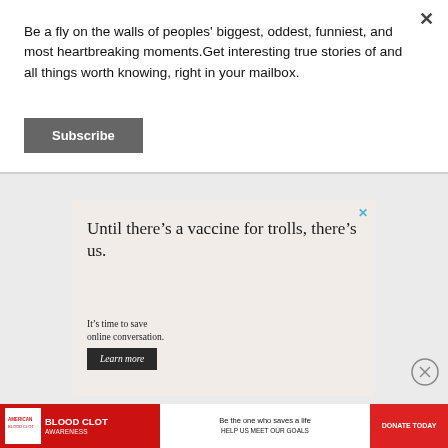Be a fly on the walls of peoples' biggest, oddest, funniest, and most heartbreaking moments.Get interesting true stories of and all things worth knowing, right in your mailbox.
Subscribe
[Figure (screenshot): Advertisement banner: 'Until there’s a vaccine for trolls, there’s us. It’s time to save online conversation. Learn more']
[Figure (screenshot): American Blood Clot Awareness advertisement banner: 'Blood Clot Awareness - Be the one who saves a life - Help us meet our goals - Donate Today']